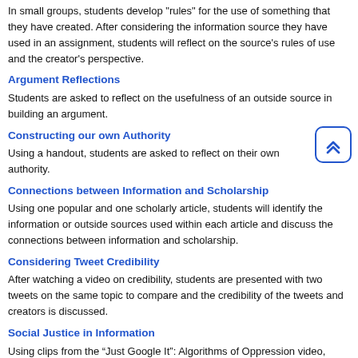In small groups, students develop "rules" for the use of something that they have created. After considering the information source they have used in an assignment, students will reflect on the source's rules of use and the creator's perspective.
Argument Reflections
Students are asked to reflect on the usefulness of an outside source in building an argument.
Constructing our own Authority
Using a handout, students are asked to reflect on their own authority.
Connections between Information and Scholarship
Using one popular and one scholarly article, students will identify the information or outside sources used within each article and discuss the connections between information and scholarship.
Considering Tweet Credibility
After watching a video on credibility, students are presented with two tweets on the same topic to compare and the credibility of the tweets and creators is discussed.
Social Justice in Information
Using clips from the “Just Google It”: Algorithms of Oppression video, students are asked to "critically examine results of google image searches as an illustration of inequities".